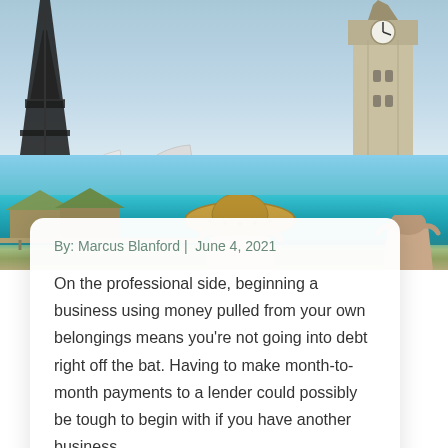[Figure (photo): A photo collage showing famous world landmarks including the Sydney Opera House, Arc de Triomphe, Big Ben, and the Eiffel Tower on the top, with a tropical beach resort scene on the bottom showing a person relaxing by turquoise water with overwater bungalows in the background.]
By: Marcus Blanford |  June 4, 2021
On the professional side, beginning a business using money pulled from your own belongings means you're not going into debt right off the bat. Having to make month-to-month payments to a lender could possibly be tough to begin with if you have another business...